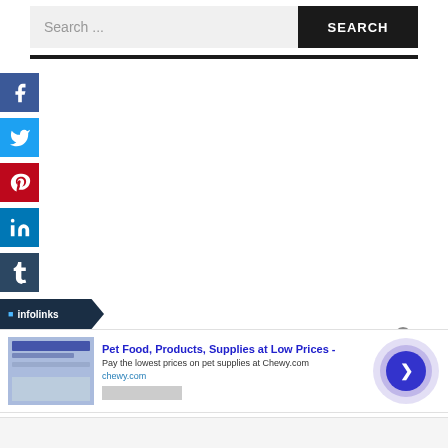Search ...  SEARCH
[Figure (illustration): Social media sharing icons: Facebook (blue), Twitter (light blue), Pinterest (red), LinkedIn (teal blue), Tumblr (dark blue)]
[Figure (infographic): Infolinks badge/logo]
[Figure (screenshot): Advertisement: Pet Food, Products, Supplies at Low Prices - Pay the lowest prices on pet supplies at Chewy.com. chewy.com. With close button and arrow navigation circle.]